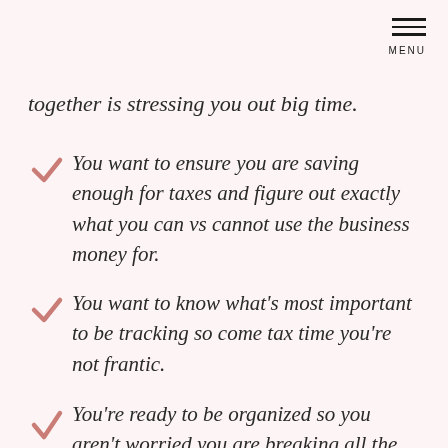MENU
together is stressing you out big time.
You want to ensure you are saving enough for taxes and figure out exactly what you can vs cannot use the business money for.
You want to know what’s most important to be tracking so come tax time you’re not frantic.
You’re ready to be organized so you aren’t worried you are breaking all the rules with your money and taxes.